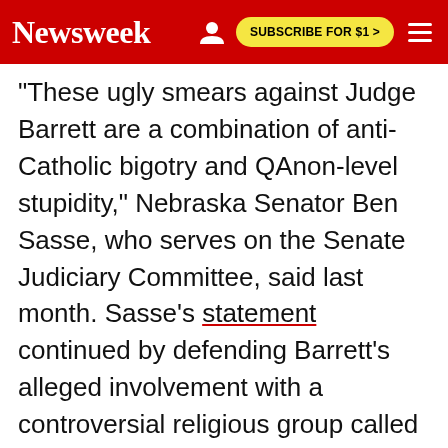Newsweek | SUBSCRIBE FOR $1 >
"These ugly smears against Judge Barrett are a combination of anti-Catholic bigotry and QAnon-level stupidity," Nebraska Senator Ben Sasse, who serves on the Senate Judiciary Committee, said last month. Sasse's statement continued by defending Barrett's alleged involvement with a controversial religious group called People of Praise and added, "Just like billions of Christians around the world, Judge Barrett reads the Bible, prays, and tries to serve her community. Senators should